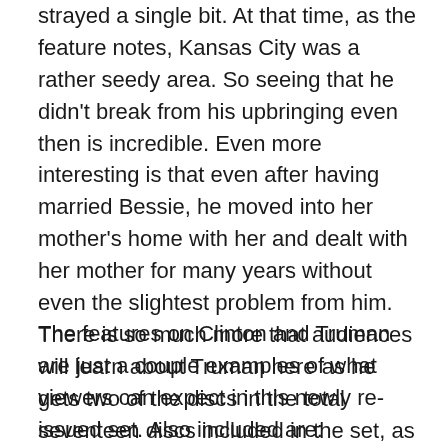strayed a single bit.  At that time, as the feature notes, Kansas City was a rather seedy area.  So seeing that he didn't break from his upbringing even then is incredible.  Even more interesting is that even after having married Bessie, he moved into her mother's home with her and dealt with her mother for many years without even the slightest problem from him.  There is so much more that audiences will learn about Truman here as he gets two of the discs in the total seventeen discs included in the set, as does Clinton.
The features on Clinton and Truman are just a couple examples of what viewers can expect in this newly re-issued set.  Also included are:  Theodore Roosevelt, John F. Kennedy, Reagan, George H.W. Bush, Franklin D. Roosevelt, Woodrow Wilson, LBJ, Richard Nixon, and Jimmy Carter.  The material on these presidents is more